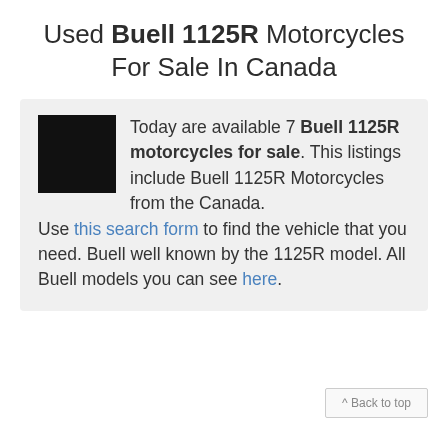Used Buell 1125R Motorcycles For Sale In Canada
Today are available 7 Buell 1125R motorcycles for sale. This listings include Buell 1125R Motorcycles from the Canada. Use this search form to find the vehicle that you need. Buell well known by the 1125R model. All Buell models you can see here.
^ Back to top